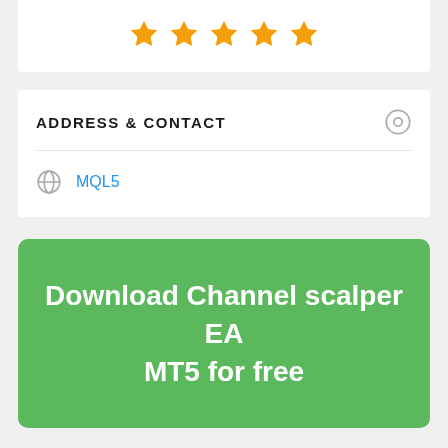[Figure (other): Five golden/yellow star rating icons displayed in a row]
ADDRESS & CONTACT
MQL5
Download Channel scalper EA MT5 for free